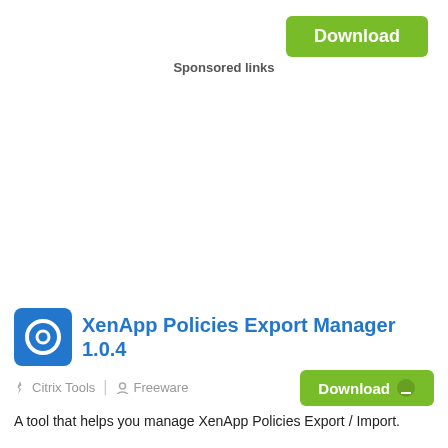[Figure (other): Green Download button in top right corner]
Sponsored links
XenApp Policies Export Manager 1.0.4
Citrix Tools   Freeware
[Figure (other): Green Download button with arrow icon]
A tool that helps you manage XenApp Policies Export / Import.